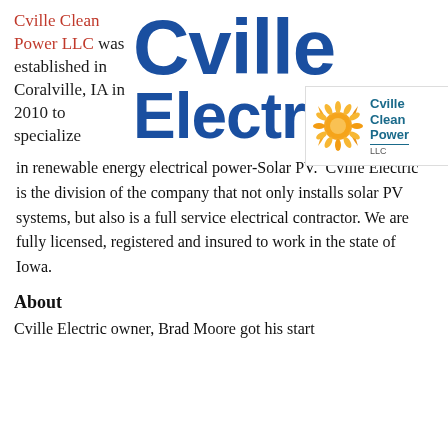[Figure (logo): Cville Electric logo with large bold blue 'Cville' text above large bold blue 'Electric' text, with Cville Clean Power LLC badge inset showing a sunburst and teal text]
Cville Clean Power LLC was established in Coralville, IA in 2010 to specialize in renewable energy electrical power-Solar PV.  Cville Electric is the division of the company that not only installs solar PV systems, but also is a full service electrical contractor. We are fully licensed, registered and insured to work in the state of Iowa.
About
Cville Electric owner, Brad Moore got his start